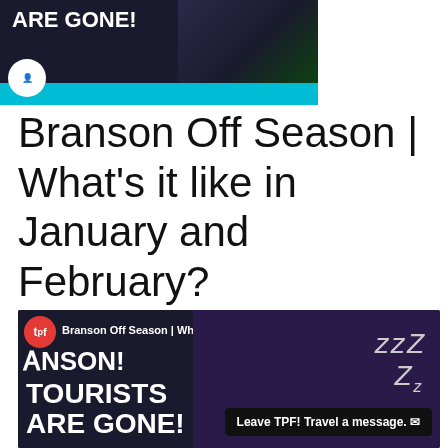[Figure (screenshot): YouTube video thumbnail showing 'TOURISTS ARE GONE!' text in white bold letters on dark background with a person resting their head on their hand, teal bar at bottom, and a logo in bottom-left corner.]
Branson Off Season | What's it like in January and February?
[Figure (screenshot): YouTube video embed showing 'Branson Off Season | What's it like' title, 'TOURISTS ARE GONE!' text, TPF logo, a sleeping person with ZZZz, and a 'Leave TPF! Travel a message.' chat popup.]